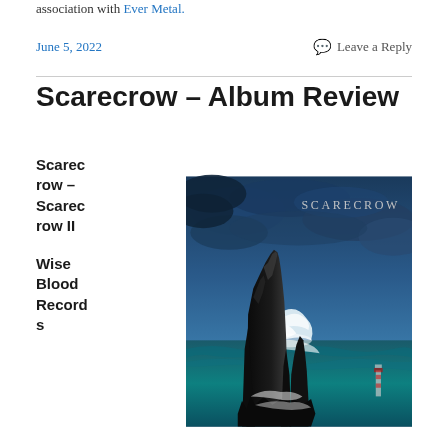association with Ever Metal.
June 5, 2022    Leave a Reply
Scarecrow – Album Review
Scarecrow – Scarecrow II
Wise Blood Records
[Figure (photo): Album cover for Scarecrow II by Scarecrow on Wise Blood Records. Dark dramatic painting of a jagged rock formation in stormy seas with crashing waves and a lighthouse in the background, against a deep blue stormy sky. The word SCARECROW appears in silver text at the top right.]